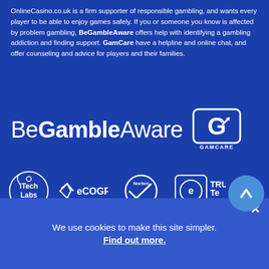OnlineCasino.co.uk is a firm supporter of responsible gambling, and wants every player to be able to enjoy games safely. If you or someone you know is affected by problem gambling, BeGambleAware offers help with identifying a gambling addiction and finding support. GamCare have a helpline and online chat, and offer counseling and advice for players and their families.
[Figure (logo): BeGambleAware logo with GamCare badge on blue background]
[Figure (logo): Trust logos: iTech Labs, eCOGRA, Norton Secured, TRUSTe Verified, and partially visible icons]
We use cookies to make this site simpler.
Find out more.